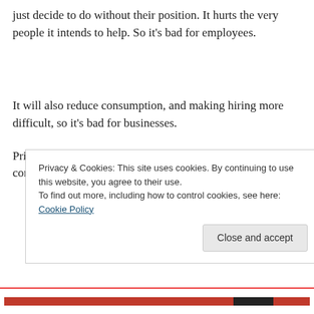just decide to do without their position. It hurts the very people it intends to help. So it's bad for employees.
It will also reduce consumption, and making hiring more difficult, so it's bad for businesses.
Prices for goods and services will go up, so it's bad for consumers.
Privacy & Cookies: This site uses cookies. By continuing to use this website, you agree to their use.
To find out more, including how to control cookies, see here: Cookie Policy
Close and accept